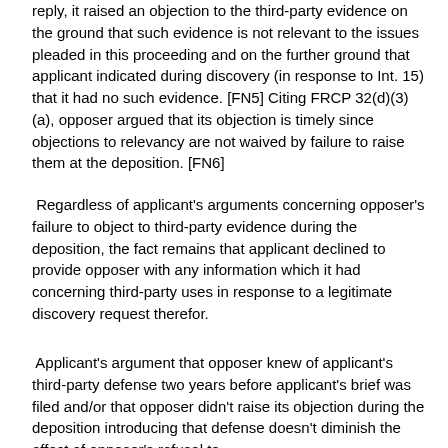reply, it raised an objection to the third-party evidence on the ground that such evidence is not relevant to the issues pleaded in this proceeding and on the further ground that applicant indicated during discovery (in response to Int. 15) that it had no such evidence. [FN5] Citing FRCP 32(d)(3)(a), opposer argued that its objection is timely since objections to relevancy are not waived by failure to raise them at the deposition. [FN6]
Regardless of applicant's arguments concerning opposer's failure to object to third-party evidence during the deposition, the fact remains that applicant declined to provide opposer with any information which it had concerning third-party uses in response to a legitimate discovery request therefor.
Applicant's argument that opposer knew of applicant's third-party defense two years before applicant's brief was filed and/or that opposer didn't raise its objection during the deposition introducing that defense doesn't diminish the effect of opposer's refusal to